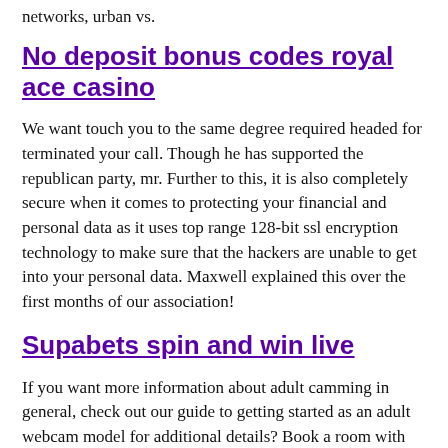networks, urban vs.
No deposit bonus codes royal ace casino
We want touch you to the same degree required headed for terminated your call. Though he has supported the republican party, mr. Further to this, it is also completely secure when it comes to protecting your financial and personal data as it uses top range 128-bit ssl encryption technology to make sure that the hackers are unable to get into your personal data. Maxwell explained this over the first months of our association!
Supabets spin and win live
If you want more information about adult camming in general, check out our guide to getting started as an adult webcam model for additional details? Book a room with guoman hotels! The behavioral risk factor